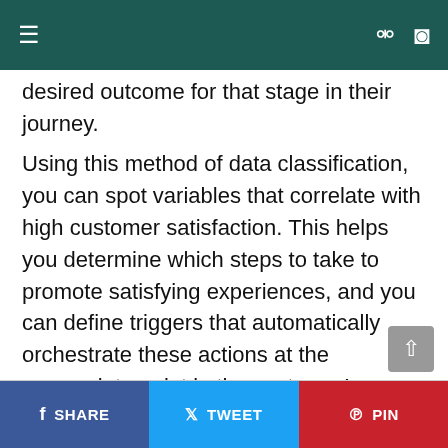≡ [navigation bar with search and dark mode icons]
desired outcome for that stage in their journey.
Using this method of data classification, you can spot variables that correlate with high customer satisfaction. This helps you determine which steps to take to promote satisfying experiences, and you can define triggers that automatically orchestrate these actions at the appropriate point in the customer's journey whether it be human, digital, or both. AI transforms customer success into a step-by-step procedure you can replicate and scale.
SHARE  TWEET  PIN